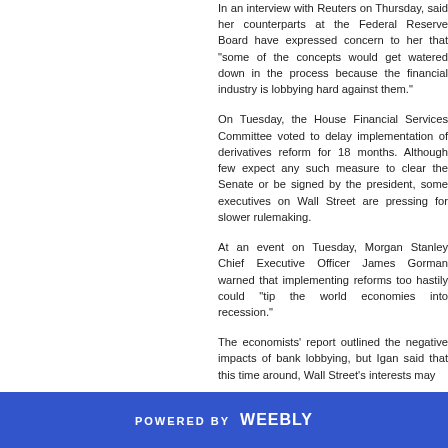In an interview with Reuters on Thursday, said her counterparts at the Federal Reserve Board have expressed concern to her that "some of the concepts would get watered down in the process because the financial industry is lobbying hard against them."
On Tuesday, the House Financial Services Committee voted to delay implementation of derivatives reform for 18 months. Although few expect any such measure to clear the Senate or be signed by the president, some executives on Wall Street are pressing for slower rulemaking.
At an event on Tuesday, Morgan Stanley Chief Executive Officer James Gorman warned that implementing reforms too hastily could "tip the world economies into recession."
The economists' report outlined the negative impacts of bank lobbying, but Igan said that this time around, Wall Street's interests may...
POWERED BY weebly